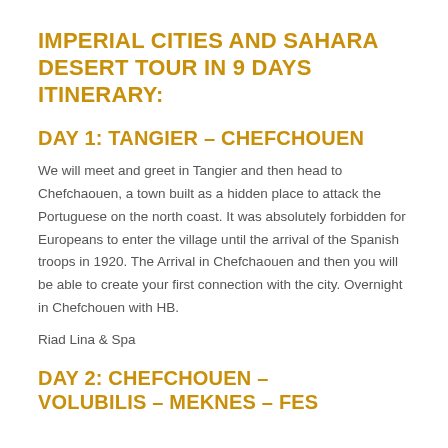IMPERIAL CITIES AND SAHARA DESERT TOUR IN 9 DAYS ITINERARY:
DAY 1: TANGIER – CHEFCHOUEN
We will meet and greet in Tangier and then head to Chefchaouen, a town built as a hidden place to attack the Portuguese on the north coast. It was absolutely forbidden for Europeans to enter the village until the arrival of the Spanish troops in 1920. The Arrival in Chefchaouen and then you will be able to create your first connection with the city. Overnight in Chefchouen with HB.
Riad Lina & Spa
DAY 2: CHEFCHOUEN – VOLUBILIS – MEKNES – FES